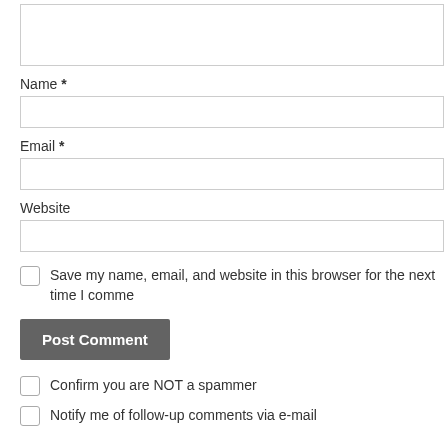[textarea box]
Name *
[input box]
Email *
[input box]
Website
[input box]
Save my name, email, and website in this browser for the next time I comme
Post Comment
Confirm you are NOT a spammer
Notify me of follow-up comments via e-mail